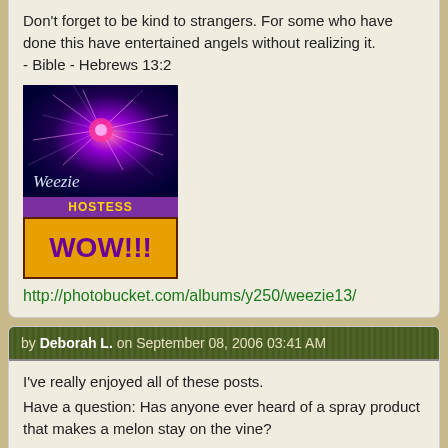Don't forget to be kind to strangers. For some who have done this have entertained angels without realizing it.
- Bible - Hebrews 13:2
[Figure (illustration): Weezie user avatar with fireworks/purple burst background and 'Weezie' text; below it a purple 'Hostess' bar and gold 'WOW!!!' badge]
http://photobucket.com/albums/y250/weezie13/
by Deborah L. on September 08, 2006 03:41 AM
I've really enjoyed all of these posts.
Have a question: Has anyone ever heard of a spray product that makes a melon stay on the vine?
I think I read something about that years ago.
These posts were awesome!